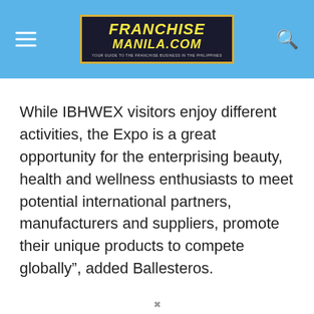FranchiseManila.com
While IBHWEX visitors enjoy different activities, the Expo is a great opportunity for the enterprising beauty, health and wellness enthusiasts to meet potential international partners, manufacturers and suppliers, promote their unique products to compete globally”, added Ballesteros.